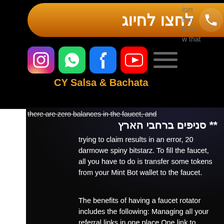[Figure (screenshot): Orange rounded call button with phone icon and Hebrew text לחצו לחיוג]
icet thin ll the w that
[Figure (screenshot): Social media icons row: Instagram, WhatsApp, Facebook, YouTube, hamburger menu]
CY Salsa & Bachata
** סניפים ברחבי הארץ
there are zero balances in the faucet, and trying to claim results in an error, 20 darmowe spiny bitstarz. To fill the faucet, all you have to do is transfer some tokens from your Mint Bot wallet to the faucet.
The benefits of having a faucet rotator includes the following: Managing all your referral links in one place One link to promote all your programs Earn ad revenue from banners Earn revenue from rotator sales, 20 darmowe spiny bitstarz.
Zijn project was zo vernieuwend dat uiteindelijk uitbreiden tot beschikbaar voor elk netwerk gebruiker. LinkedIn is een business-georienteerde web site. Het werd opgericht in December 2002 en gelanceerd in mei van 20031 (vergelijkbaar met een